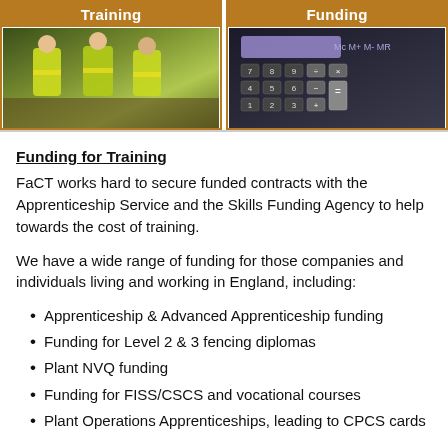[Figure (photo): Two construction workers in yellow high-visibility jackets at a worksite, under the 'Training' header tab]
[Figure (photo): Close-up of a calculator with dark keys and a purple display, under the 'Funding' header tab]
Funding for Training
FaCT works hard to secure funded contracts with the Apprenticeship Service and the Skills Funding Agency to help towards the cost of training.
We have a wide range of funding for those companies and individuals living and working in England, including:
Apprenticeship & Advanced Apprenticeship funding
Funding for Level 2 & 3 fencing diplomas
Plant NVQ funding
Funding for FISS/CSCS and vocational courses
Plant Operations Apprenticeships, leading to CPCS cards